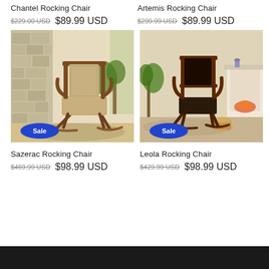Chantel Rocking Chair
$229.00 USD  $89.99 USD
Artemis Rocking Chair
$299.99 USD  $89.99 USD
[Figure (photo): Sazerac Rocking Chair with tan upholstery in a room with stone fireplace. Sale badge shown.]
[Figure (photo): Leola Rocking Chair dark wood with black leather in a room with white fireplace. Sale badge shown.]
Sazerac Rocking Chair
$469.99 USD  $98.99 USD
Leola Rocking Chair
$429.99 USD  $98.99 USD